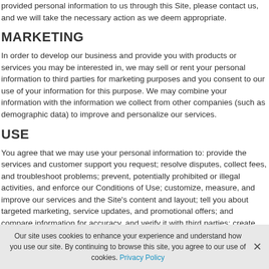provided personal information to us through this Site, please contact us, and we will take the necessary action as we deem appropriate.
MARKETING
In order to develop our business and provide you with products or services you may be interested in, we may sell or rent your personal information to third parties for marketing purposes and you consent to our use of your information for this purpose. We may combine your information with the information we collect from other companies (such as demographic data) to improve and personalize our services.
USE
You agree that we may use your personal information to: provide the services and customer support you request; resolve disputes, collect fees, and troubleshoot problems; prevent, potentially prohibited or illegal activities, and enforce our Conditions of Use; customize, measure, and improve our services and the Site's content and layout; tell you about targeted marketing, service updates, and promotional offers; and compare information for accuracy, and verify it with third parties; create
Our site uses cookies to enhance your experience and understand how you use our site. By continuing to browse this site, you agree to our use of cookies. Privacy Policy